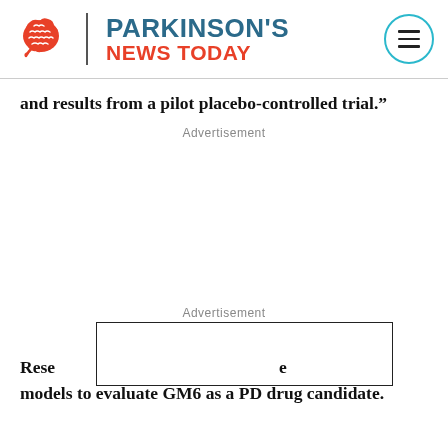PARKINSON'S NEWS TODAY
and results from a pilot placebo-controlled trial.”
Advertisement
Advertisement
Researchers also plan experiments in mouse models to evaluate GM6 as a PD drug candidate.